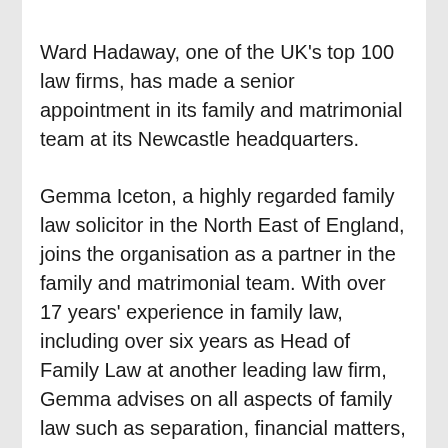Ward Hadaway, one of the UK's top 100 law firms, has made a senior appointment in its family and matrimonial team at its Newcastle headquarters.
Gemma Iceton, a highly regarded family law solicitor in the North East of England, joins the organisation as a partner in the family and matrimonial team. With over 17 years' experience in family law, including over six years as Head of Family Law at another leading law firm, Gemma advises on all aspects of family law such as separation, financial matters, children and pre-nuptial and living together agreements. She also has a breadth of experience on matters relating to matrimonial and non-